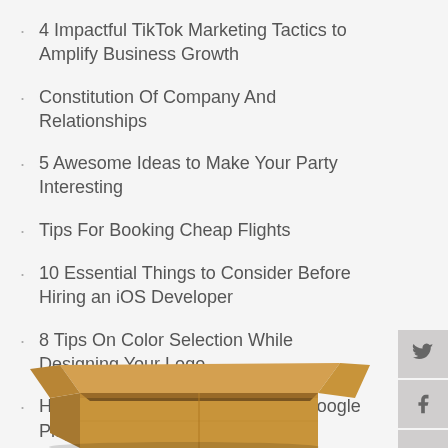4 Impactful TikTok Marketing Tactics to Amplify Business Growth
Constitution Of Company And Relationships
5 Awesome Ideas to Make Your Party Interesting
Tips For Booking Cheap Flights
10 Essential Things to Consider Before Hiring an iOS Developer
8 Tips On Color Selection While Designing Your Logo
How To Submit A Mobile App On Google Play Store?
Random Posts
[Figure (photo): Open cardboard box, viewed from above at an angle, showing the inside of an empty brown box with open flaps.]